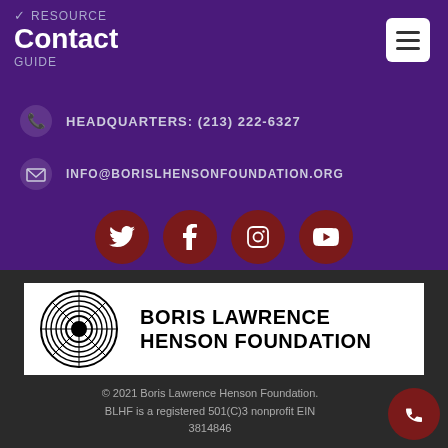RESOURCE GUIDE
Contact
HEADQUARTERS: (213) 222-6327
INFO@BORISLHENSONFOUNDATION.ORG
[Figure (logo): Four social media icons (Twitter, Facebook, Instagram, YouTube) in dark red circles]
[Figure (logo): Boris Lawrence Henson Foundation logo banner with spiral circle graphic and bold text]
© 2021 Boris Lawrence Henson Foundation. BLHF is a registered 501(C)3 nonprofit EIN 3814846